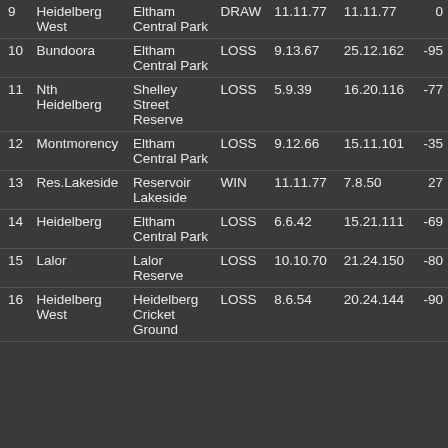| # | Team | Venue | Result | Score1 | Score2 | Margin |
| --- | --- | --- | --- | --- | --- | --- |
| 9 | Heidelberg West | Eltham Central Park | DRAW | 11.11.77 | 11.11.77 | 0 |
| 10 | Bundoora | Eltham Central Park | LOSS | 9.13.67 | 25.12.162 | -95 |
| 11 | Nth Heidelberg | Shelley Street Reserve | LOSS | 5.9.39 | 16.20.116 | -77 |
| 12 | Montmorency | Eltham Central Park | LOSS | 9.12.66 | 15.11.101 | -35 |
| 13 | Res.Lakeside | Reservoir Lakeside | WIN | 11.11.77 | 7.8.50 | 27 |
| 14 | Heidelberg | Eltham Central Park | LOSS | 6.6.42 | 15.21.111 | -69 |
| 15 | Lalor | Lalor Reserve | LOSS | 10.10.70 | 21.24.150 | -80 |
| 16 | Heidelberg West | Heidelberg Cricket Ground | LOSS | 8.6.54 | 20.24.144 | -90 |